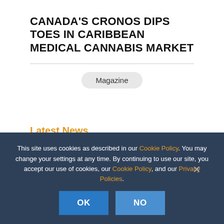CANADA'S CRONOS DIPS TOES IN CARIBBEAN MEDICAL CANNABIS MARKET
Magazine
Latest News
This site uses cookies as described in our Cookie Policy. You may change your settings at any time. By continuing to use our site, you accept our use of cookies, our Cookie Policy, and our Privacy Policies.
OK
NO